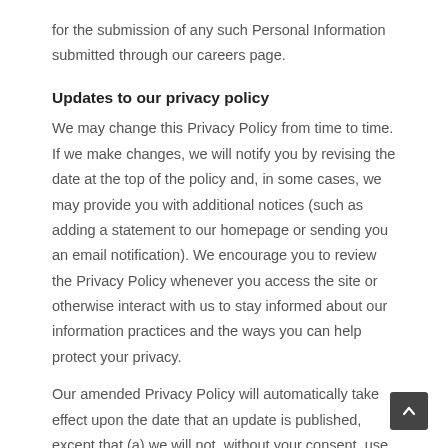for the submission of any such Personal Information submitted through our careers page.
Updates to our privacy policy
We may change this Privacy Policy from time to time. If we make changes, we will notify you by revising the date at the top of the policy and, in some cases, we may provide you with additional notices (such as adding a statement to our homepage or sending you an email notification). We encourage you to review the Privacy Policy whenever you access the site or otherwise interact with us to stay informed about our information practices and the ways you can help protect your privacy.
Our amended Privacy Policy will automatically take effect upon the date that an update is published, except that (a) we will not, without your consent, use your previously